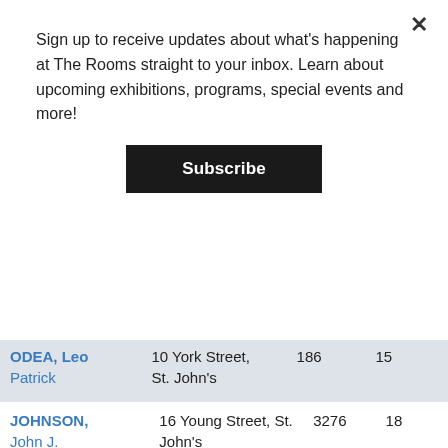Sign up to receive updates about what's happening at The Rooms straight to your inbox. Learn about upcoming exhibitions, programs, special events and more!
Subscribe
| Name | Address | No. | Ward |
| --- | --- | --- | --- |
| ODEA, Leo Patrick | 10 York Street, St. John's | 186 | 15 |
| JOHNSON, John J. | 16 Young Street, St. John's | 3276 | 18 |
| NOSEWORTHY, Herman | 160 Casey Street, St. John's | 354 | 19 |
| TUCKER, William | 161 Casey Street, St. John's | 4686 | 21 |